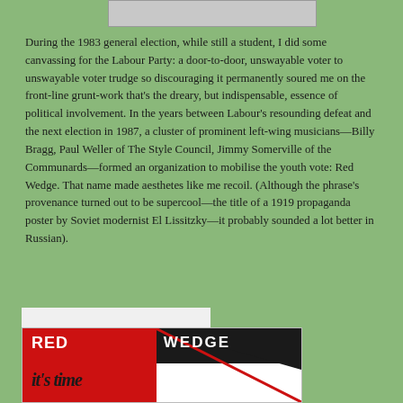[Figure (photo): Partial image visible at top of page, cropped]
During the 1983 general election, while still a student, I did some canvassing for the Labour Party: a door-to-door, unswayable voter to unswayable voter trudge so discouraging it permanently soured me on the front-line grunt-work that’s the dreary, but indispensable, essence of political involvement. In the years between Labour’s resounding defeat and the next election in 1987, a cluster of prominent left-wing musicians—Billy Bragg, Paul Weller of The Style Council, Jimmy Somerville of the Communards—formed an organization to mobilise the youth vote: Red Wedge. That name made aesthetes like me recoil. (Although the phrase’s provenance turned out to be supercool—the title of a 1919 propaganda poster by Soviet modernist El Lissitzky—it probably sounded a lot better in Russian).
[Figure (photo): Red Wedge poster showing bold red and black design with 'RED WEDGE' text and a figure, with partial text 'it's time' visible at bottom]